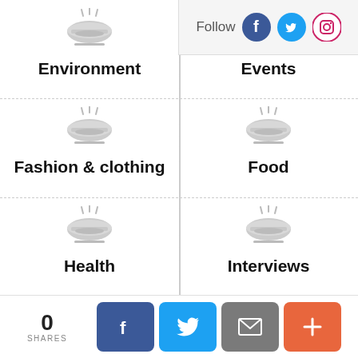[Figure (infographic): Navigation grid showing category icons (bowl/steam icons) with labels: Environment, Events, Fashion & clothing, Food, Health, Interviews in a 2-column layout]
[Figure (infographic): Follow bar in top right with Facebook, Twitter, Instagram social icons]
[Figure (infographic): Bottom share bar with 0 shares count and Facebook, Twitter, Email, Plus share buttons]